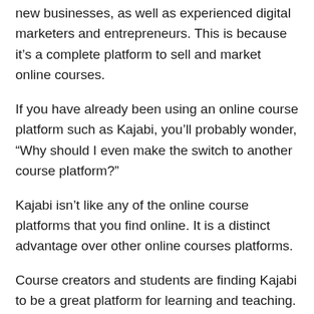new businesses, as well as experienced digital marketers and entrepreneurs. This is because it's a complete platform to sell and market online courses.
If you have already been using an online course platform such as Kajabi, you'll probably wonder, “Why should I even make the switch to another course platform?”
Kajabi isn’t like any of the online course platforms that you find online. It is a distinct advantage over other online courses platforms.
Course creators and students are finding Kajabi to be a great platform for learning and teaching. It has everything you need to create a professional looking website for your company.